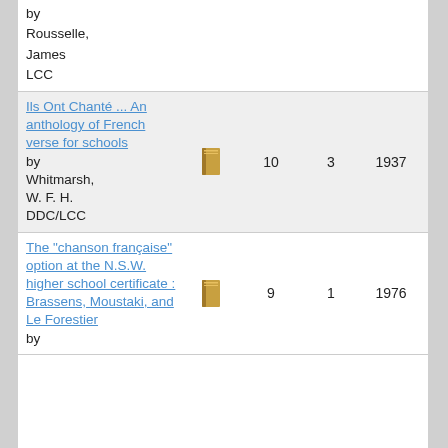by Rousselle, James LCC
| Title/Author | Icon | Copies | Items | Year1 | Year2 |
| --- | --- | --- | --- | --- | --- |
| Ils Ont Chanté ... An anthology of French verse for schools by Whitmarsh, W. F. H. DDC/LCC |  | 10 | 3 | 1937 | 1937 |
| The "chanson française" option at the N.S.W. higher school certificate : Brassens, Moustaki, and Le Forestier by |  | 9 | 1 | 1976 | 1976 |